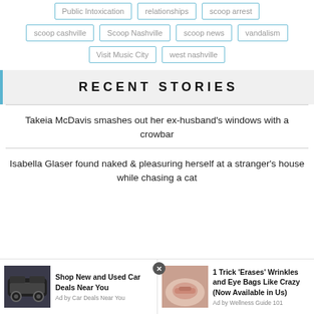Public Intoxication
relationships
scoop arrest
scoop cashville
Scoop Nashville
scoop news
vandalism
Visit Music City
west nashville
RECENT STORIES
Takeia McDavis smashes out her ex-husband's windows with a crowbar
Isabella Glaser found naked & pleasuring herself at a stranger's house while chasing a cat
[Figure (screenshot): Advertisement bar with two ad units: left ad for car deals showing SUV image with text 'Shop New and Used Car Deals Near You' by Car Deals Near You; right ad showing close-up image with text '1 Trick Erases Wrinkles and Eye Bags Like Crazy (Now Available in Us)' by Wellness Guide 101. A close button (X) in a dark circle between the two ads.]